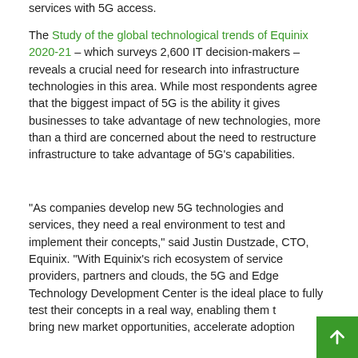services with 5G access.
The Study of the global technological trends of Equinix 2020-21 – which surveys 2,600 IT decision-makers – reveals a crucial need for research into infrastructure technologies in this area. While most respondents agree that the biggest impact of 5G is the ability it gives businesses to take advantage of new technologies, more than a third are concerned about the need to restructure infrastructure to take advantage of 5G's capabilities.
“As companies develop new 5G technologies and services, they need a real environment to test and implement their concepts,” said Justin Dustzade, CTO, Equinix. “With Equinix’s rich ecosystem of service providers, partners and clouds, the 5G and Edge Technology Development Center is the ideal place to fully test their concepts in a real way, enabling them to bring new market opportunities, accelerate adoption